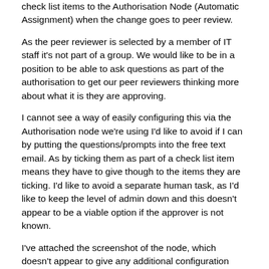check list items to the Authorisation Node (Automatic Assignment) when the change goes to peer review.
As the peer reviewer is selected by a member of IT staff it's not part of a group. We would like to be in a position to be able to ask questions as part of the authorisation to get our peer reviewers thinking more about what it is they are approving.
I cannot see a way of easily configuring this via the Authorisation node we're using I'd like to avoid if I can by putting the questions/prompts into the free text email. As by ticking them as part of a check list item means they have to give though to the items they are ticking. I'd like to avoid a separate human task, as I'd like to keep the level of admin down and this doesn't appear to be a viable option if the approver is not known.
I've attached the screenshot of the node, which doesn't appear to give any additional configuration options to build in these questions.
I've also included a screenshot of our change bpm configuration, if the only way  I can do it is to add an additional node I assume this would need to go in the area highlighted in yellow and not before the authorisation node? I've also included in blue the node